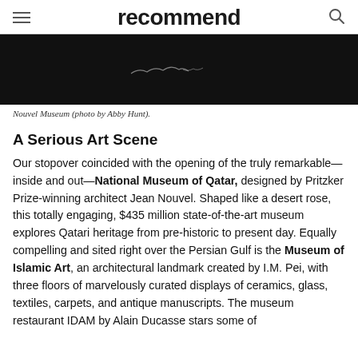recommend
[Figure (photo): Dark/night photograph of the Nouvel Museum exterior, mostly black with faint light streaks visible]
Nouvel Museum (photo by Abby Hunt).
A Serious Art Scene
Our stopover coincided with the opening of the truly remarkable—inside and out—National Museum of Qatar, designed by Pritzker Prize-winning architect Jean Nouvel. Shaped like a desert rose, this totally engaging, $435 million state-of-the-art museum explores Qatari heritage from pre-historic to present day. Equally compelling and sited right over the Persian Gulf is the Museum of Islamic Art, an architectural landmark created by I.M. Pei, with three floors of marvelously curated displays of ceramics, glass, textiles, carpets, and antique manuscripts. The museum restaurant IDAM by Alain Ducasse stars some of